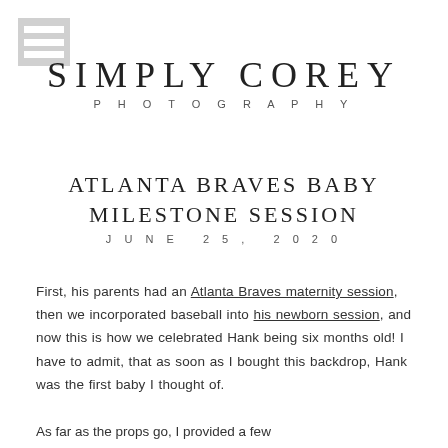[Figure (other): Hamburger menu icon — three horizontal white bars on a grey square background]
SIMPLY COREY
PHOTOGRAPHY
ATLANTA BRAVES BABY MILESTONE SESSION
JUNE 25, 2020
First, his parents had an Atlanta Braves maternity session, then we incorporated baseball into his newborn session, and now this is how we celebrated Hank being six months old! I have to admit, that as soon as I bought this backdrop, Hank was the first baby I thought of.
As far as the props go, I provided a few